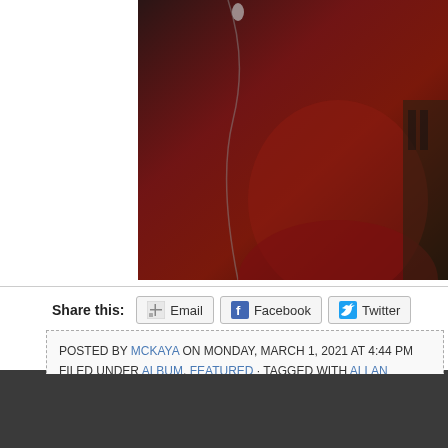[Figure (photo): Partial photo of a person in a red sweater near a microphone, dark background, bottom portion of image visible]
Share this:
Email   Facebook   Twitter
POSTED BY MCKAYA ON MONDAY, MARCH 1, 2021 AT 4:44 PM
FILED UNDER ALBUM, FEATURED · TAGGED WITH ALLAN MCKAY, ALLEN TOUS...
BRIGITTE DEMEYER, JANO RIX, RICKIE LEE JONES, SEEKER, WILL KIMBROUGH...
Comments are closed.